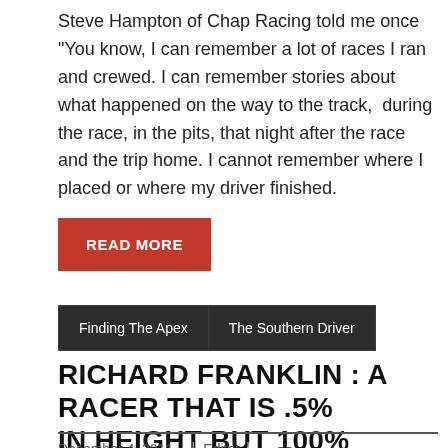Steve Hampton of Chap Racing told me once “You know, I can remember a lot of races I ran and crewed. I can remember stories about what happened on the way to the track,  during the race, in the pits, that night after the race and the trip home. I cannot remember where I placed or where my driver finished.
READ MORE
Finding The Apex
The Southern Driver
RICHARD FRANKLIN : A RACER THAT IS .5% IN HEIGHT BUT 100% WINNER
December 4, 2011 | Editor |